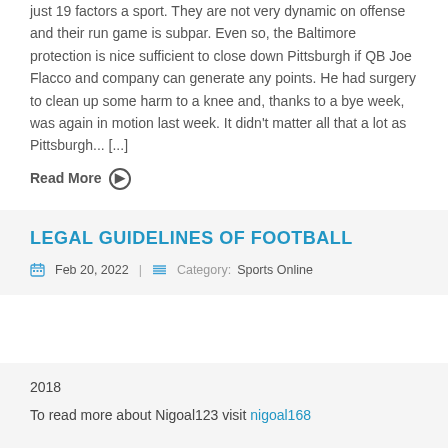just 19 factors a sport. They are not very dynamic on offense and their run game is subpar. Even so, the Baltimore protection is nice sufficient to close down Pittsburgh if QB Joe Flacco and company can generate any points. He had surgery to clean up some harm to a knee and, thanks to a bye week, was again in motion last week. It didn't matter all that a lot as Pittsburgh... [...]
Read More ⊙
LEGAL GUIDELINES OF FOOTBALL
Feb 20, 2022 | Category: Sports Online
2018
To read more about Nigoal123 visit nigoal168